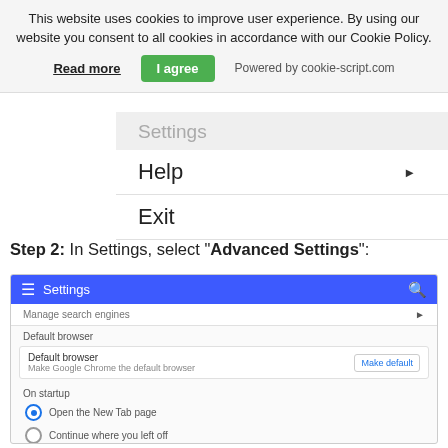This website uses cookies to improve user experience. By using our website you consent to all cookies in accordance with our Cookie Policy.
Read more | I agree | Powered by cookie-script.com
Settings
Help
Exit
Step 2: In Settings, select "Advanced Settings":
[Figure (screenshot): Chrome Settings page screenshot showing: blue top bar with hamburger menu, Settings label and search icon; Manage search engines row; Default browser section with Make default button; On startup section with Open the New Tab page (selected) and Continue where you left off radio options.]